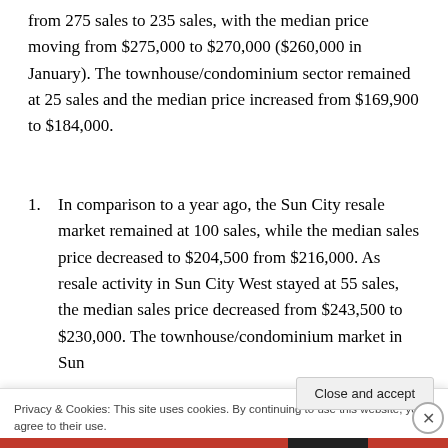from 275 sales to 235 sales, with the median price moving from $275,000 to $270,000 ($260,000 in January). The townhouse/condominium sector remained at 25 sales and the median price increased from $169,900 to $184,000.
In comparison to a year ago, the Sun City resale market remained at 100 sales, while the median sales price decreased to $204,500 from $216,000. As resale activity in Sun City West stayed at 55 sales, the median sales price decreased from $243,500 to $230,000. The townhouse/condominium market in Sun
Privacy & Cookies: This site uses cookies. By continuing to use this website, you agree to their use.
To find out more, including how to control cookies, see here: Cookie Policy